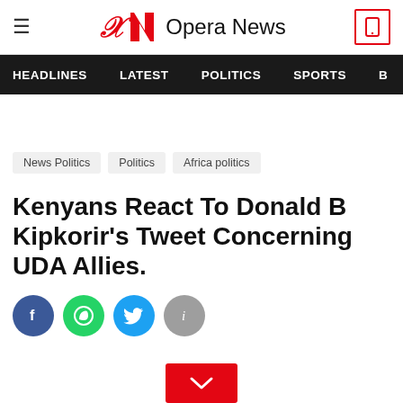Opera News
HEADLINES  LATEST  POLITICS  SPORTS
News Politics  Politics  Africa politics
Kenyans React To Donald B Kipkorir's Tweet Concerning UDA Allies.
[Figure (infographic): Social share buttons: Facebook (blue), WhatsApp (green), Twitter (blue), Info (grey)]
[Figure (infographic): Red scroll down / expand button with chevron icon]